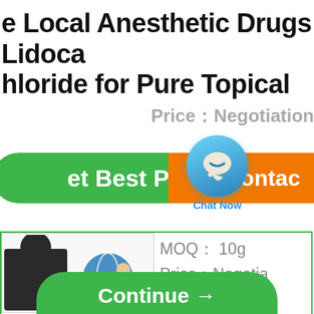e Local Anesthetic Drugs Lidoca hloride for Pure Topical
Price：Negotiation
et Best Price
Chat Now
Contac
[Figure (photo): Product image showing a figure and globe graphic with website text]
MOQ： 10g
Price：Negotia
Continue →